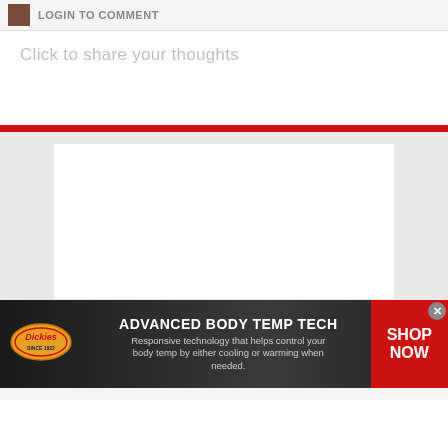LOGIN TO COMMENT
Click to share your thoughts
[Figure (other): White content box on gray background section]
[Figure (other): Dickies advertisement banner: ADVANCED BODY TEMP TECH - Responsive technology that helps control your body temp by either cooling or warming when needed. SHOP NOW]